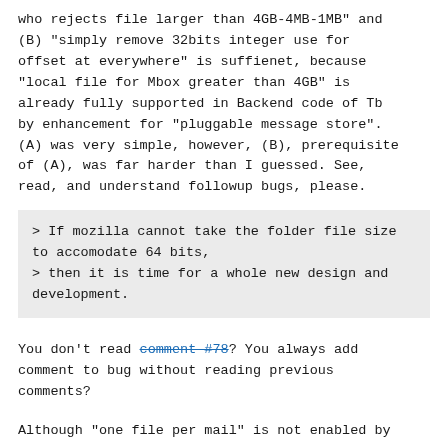who rejects file larger than 4GB-4MB-1MB" and (B) "simply remove 32bits integer use for offset at everywhere" is suffienet, because "local file for Mbox greater than 4GB" is already fully supported in Backend code of Tb by enhancement for "pluggable message store". (A) was very simple, however, (B), prerequisite of (A), was far harder than I guessed. See, read, and understand followup bugs, please.
> If mozilla cannot take the folder file size to accomodate 64 bits,
> then it is time for a whole new design and development.
You don't read comment #78? You always add comment to bug without reading previous comments?
Although "one file per mail" is not enabled by